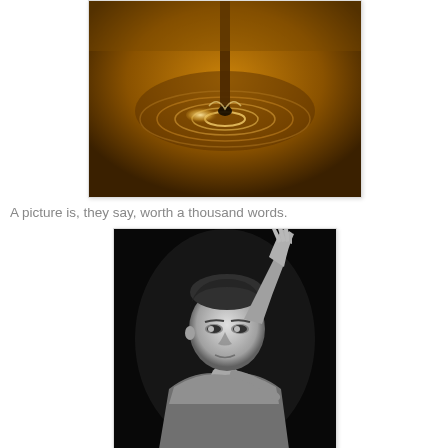[Figure (photo): Close-up photo of a liquid drop (amber/brown liquid) falling into a pool, creating a circular ripple, warm golden-brown tones]
A picture is, they say, worth a thousand words.
[Figure (photo): Black and white portrait photo of a young man with short hair, arm raised, wearing a sleeveless shirt, looking at camera]